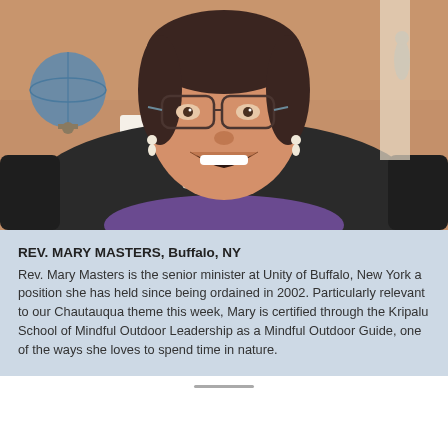[Figure (photo): Portrait photo of Rev. Mary Masters, a woman with glasses, pearl drop earrings, and a pearl necklace, smiling broadly. She is seated in a dark leather chair. Background includes a globe, decorative items, and bookshelves in a warm-toned room.]
REV. MARY MASTERS, Buffalo, NY
Rev. Mary Masters is the senior minister at Unity of Buffalo, New York a position she has held since being ordained in 2002. Particularly relevant to our Chautauqua theme this week, Mary is certified through the Kripalu School of Mindful Outdoor Leadership as a Mindful Outdoor Guide, one of the ways she loves to spend time in nature.